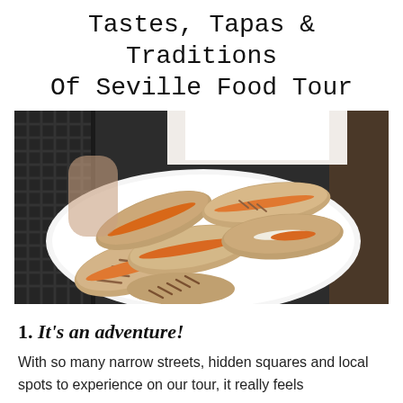Tastes, Tapas & Traditions Of Seville Food Tour
[Figure (photo): A white plate piled with grilled bread rolls (montaditos) filled with orange-colored sauce/filling, held by a person. The rolls have visible grill marks.]
1. It's an adventure!
With so many narrow streets, hidden squares and local spots to experience on our tour, it really feels